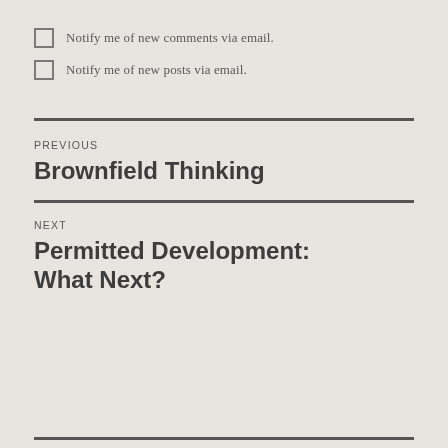Notify me of new comments via email.
Notify me of new posts via email.
PREVIOUS
Brownfield Thinking
NEXT
Permitted Development: What Next?